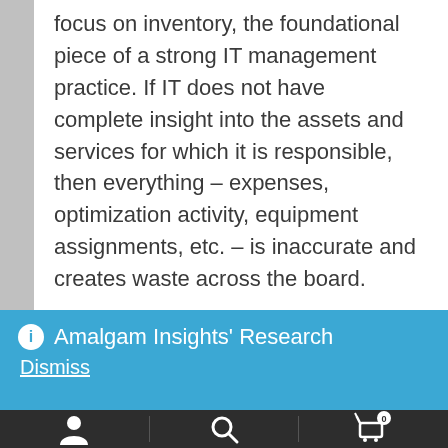focus on inventory, the foundational piece of a strong IT management practice. If IT does not have complete insight into the assets and services for which it is responsible, then everything – expenses, optimization activity, equipment assignments, etc. – is inaccurate and creates waste across the board.
Right now, halfway through a year fraught with the impacts of COVID-19 and quarantine on a hobbled economy, cash flow is king. All organizations and departments are living or dying by this metric. As I've repeated in every blog and webinar since mid-April, IT
ⓘ  Amalgam Insights' Research
Dismiss